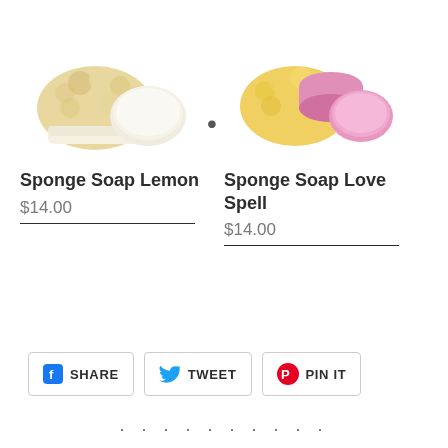[Figure (photo): Sponge Soap Lemon product photo: a natural sponge with a cream/white oval soap bar]
[Figure (photo): Sponge Soap Love Spell product photo: a yellow sponge with pink round soap bars]
Sponge Soap Lemon
$14.00
Sponge Soap Love Spell
$14.00
SHARE
TWEET
PIN IT
· · · · · · · · · ·